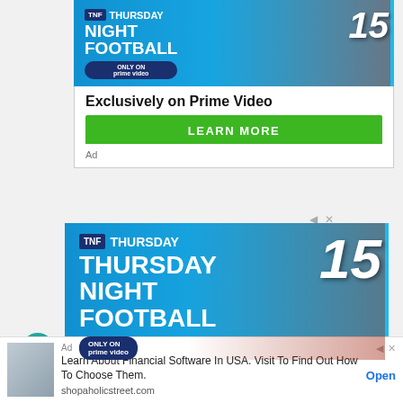[Figure (photo): Thursday Night Football ad banner — TNF shield logo, NFL players in uniforms (Bears, Rams, Chiefs #15), blue gradient background, 'ONLY ON prime video' badge]
Exclusively on Prime Video
LEARN MORE
Ad
[Figure (photo): Thursday Night Football ad banner — TNF shield logo, 'THURSDAY NIGHT FOOTBALL', NFL players in Bengals, Rams, Chiefs #15 uniforms, blue gradient background, 'ONLY ON prime video' badge]
Ad
Learn About Financial Software In USA. Visit To Find Out How To Choose Them.
shopaholicstreet.com
Open